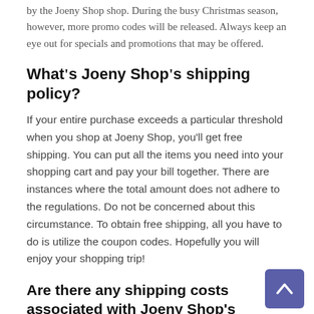by the Joeny Shop shop. During the busy Christmas season, however, more promo codes will be released. Always keep an eye out for specials and promotions that may be offered.
What's Joeny Shop's shipping policy?
If your entire purchase exceeds a particular threshold when you shop at Joeny Shop, you'll get free shipping. You can put all the items you need into your shopping cart and pay your bill together. There are instances where the total amount does not adhere to the regulations. Do not be concerned about this circumstance. To obtain free shipping, all you have to do is utilize the coupon codes. Hopefully you will enjoy your shopping trip!
Are there any shipping costs associated with Joeny Shop's products?
Joeny Shop has a delivery service where free shipping is